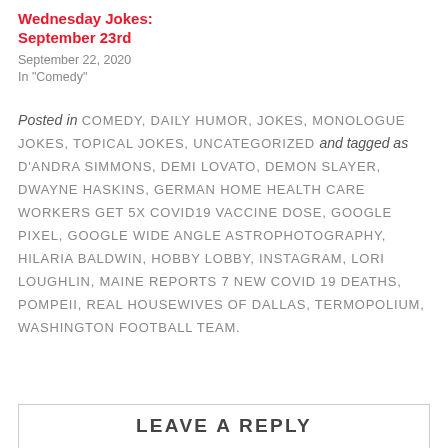Wednesday Jokes: September 23rd
September 22, 2020
In "Comedy"
Posted in COMEDY, DAILY HUMOR, JOKES, MONOLOGUE JOKES, TOPICAL JOKES, UNCATEGORIZED and tagged as D'ANDRA SIMMONS, DEMI LOVATO, DEMON SLAYER, DWAYNE HASKINS, GERMAN HOME HEALTH CARE WORKERS GET 5X COVID19 VACCINE DOSE, GOOGLE PIXEL, GOOGLE WIDE ANGLE ASTROPHOTOGRAPHY, HILARIA BALDWIN, HOBBY LOBBY, INSTAGRAM, LORI LOUGHLIN, MAINE REPORTS 7 NEW COVID 19 DEATHS, POMPEII, REAL HOUSEWIVES OF DALLAS, TERMOPOLIUM, WASHINGTON FOOTBALL TEAM.
LEAVE A REPLY